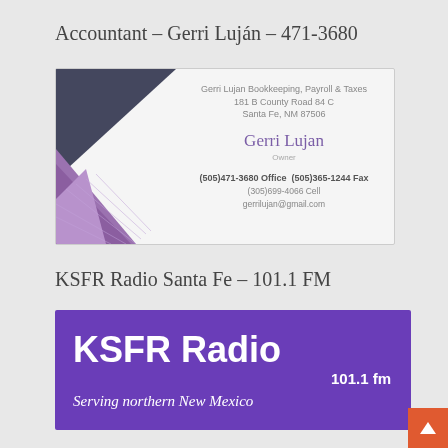Accountant – Gerri Luján – 471-3680
[Figure (photo): Business card for Gerri Lujan Bookkeeping, Payroll & Taxes. Features dark navy and purple geometric shapes on the left, with contact details: 181 B County Road 84 C, Santa Fe, NM 87506. Gerri Lujan, Owner. (505)471-3680 Office (505)365-1244 Fax (505)699-4066 Cell gerrilujan@gmail.com]
KSFR Radio Santa Fe – 101.1 FM
[Figure (logo): KSFR Radio logo on purple background. Large white bold text 'KSFR Radio', below it '101.1 fm', then italic white text 'Serving northern New Mexico']